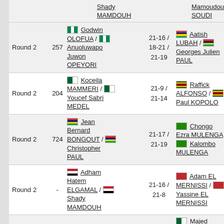| Round | # | Player 1 | Score | Player 2 | Ref |
| --- | --- | --- | --- | --- | --- |
| Round 2 | 257 | Godwin OLOFUA / Anuoluwapo Juwon OPEYORI | 21-16 / 18-21 / 21-19 | Aatish LUBAH / Georges Julien PAUL | 69 |
| Round 2 | 204 | Koceila MAMMERI / Youcef Sabri MEDEL | 21-9 / 21-14 | Raffick ALFONSO / Paul KOPOLO | - |
| Round 2 | 724 | Jean Bernard BONGOUT / Christopher PAUL | 21-17 / 21-19 | Chongo Ezra MULENGA / Kalombo MULENGA | 186 |
| Round 2 | - | Adham Hatem ELGAMAL / Shady MAMDOUH | 21-16 / 21-8 | Adam EL MERNISSI / Yassine EL MERNISSI | - |